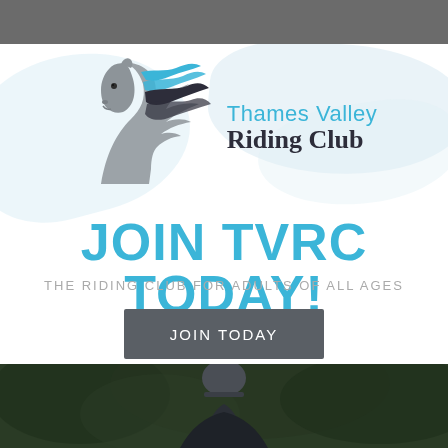[Figure (logo): Thames Valley Riding Club logo with stylized horse head in grey and blue/black flowing mane lines, and text 'Thames Valley Riding Club']
JOIN TVRC TODAY!
THE RIDING CLUB FOR ADULTS OF ALL AGES
JOIN TODAY
[Figure (photo): Photo of a horse rider wearing a helmet, partially visible, with green foliage background]